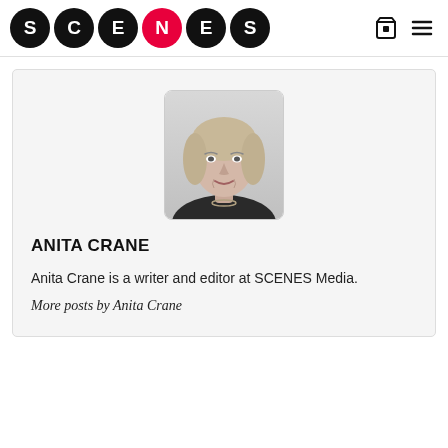[Figure (logo): SCENES media logo — six black and red circles each containing a white letter: S, C, E (red circle), N, E, S]
[Figure (photo): Black-and-white headshot of Anita Crane, a woman with shoulder-length blonde hair, wearing a dark jacket and necklace, photographed against a light background]
ANITA CRANE
Anita Crane is a writer and editor at SCENES Media.
More posts by Anita Crane